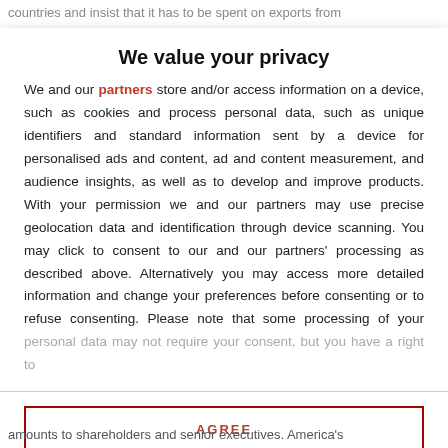countries and insist that it has to be spent on exports from
We value your privacy
We and our partners store and/or access information on a device, such as cookies and process personal data, such as unique identifiers and standard information sent by a device for personalised ads and content, ad and content measurement, and audience insights, as well as to develop and improve products. With your permission we and our partners may use precise geolocation data and identification through device scanning. You may click to consent to our and our partners' processing as described above. Alternatively you may access more detailed information and change your preferences before consenting or to refuse consenting. Please note that some processing of your personal data may not require your consent, but you have a right to
AGREE
MORE OPTIONS
amounts to shareholders and senior executives. America's